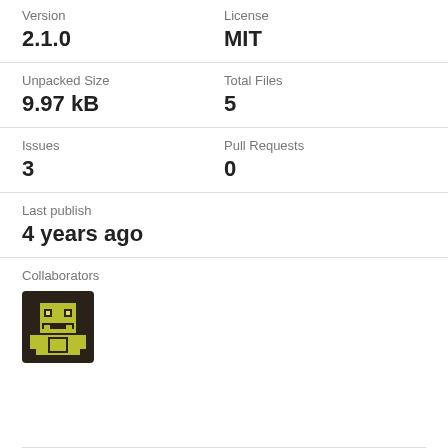Version
2.1.0
License
MIT
Unpacked Size
9.97 kB
Total Files
5
Issues
3
Pull Requests
0
Last publish
4 years ago
Collaborators
[Figure (illustration): User avatar icon with dark brown background and yellow-green pixel art character]